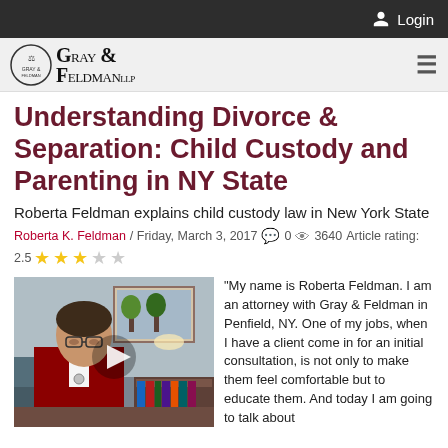Login
[Figure (logo): Gray & Feldman LLP law firm logo with scales of justice icon]
Understanding Divorce & Separation: Child Custody and Parenting in NY State
Roberta Feldman explains child custody law in New York State
Roberta K. Feldman / Friday, March 3, 2017   0   3640   Article rating: 2.5
[Figure (photo): Video thumbnail showing Roberta Feldman, an attorney in a red jacket, sitting in an office with a play button overlay]
"My name is Roberta Feldman. I am an attorney with Gray & Feldman in Penfield, NY. One of my jobs, when I have a client come in for an initial consultation, is not only to make them feel comfortable but to educate them.  And today I am going to talk about